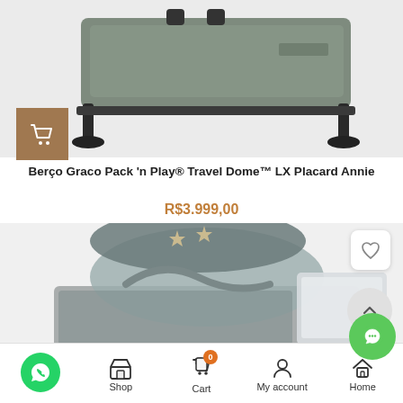[Figure (photo): Graco Pack n Play Travel Dome LX playard product photo on gray background, viewed from side angle showing frame, wheels, and gray fabric]
[Figure (other): Brown square button with shopping cart icon]
Berço Graco Pack 'n Play® Travel Dome™ LX Placard Annie
R$3.999,00
[Figure (photo): Graco bassinet/play yard product with gray fabric, star decorations on canopy, and attached changing table, viewed from above-front angle]
[Figure (other): Heart/wishlist icon button]
[Figure (other): Scroll to top arrow button]
[Figure (other): Green chat/messenger button]
Shop  Cart  My account  Home